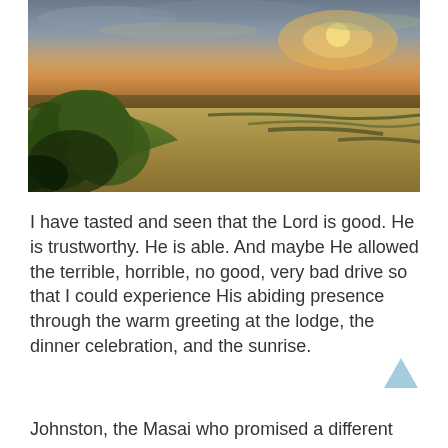[Figure (photo): Aerial or elevated view of an African savanna landscape at sunset/sunrise. Lush green trees in the foreground lower left, wide golden grassland plains extending to the horizon, dramatic sky with orange and grey clouds.]
I have tasted and seen that the Lord is good. He is trustworthy. He is able. And maybe He allowed the terrible, horrible, no good, very bad drive so that I could experience His abiding presence through the warm greeting at the lodge, the dinner celebration, and the sunrise.
Johnston, the Masai who promised a different